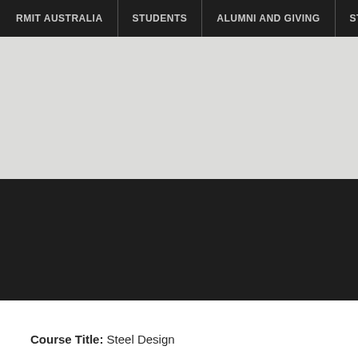RMIT AUSTRALIA | STUDENTS | ALUMNI AND GIVING | ST
[Figure (other): Light gray banner image placeholder area]
[Figure (other): Dark/black banner area below the gray image]
Course Title: Steel Design
Credit Points: 12.00